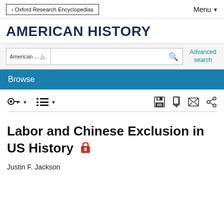Oxford Research Encyclopedias | Menu
AMERICAN HISTORY
American... [search dropdown] Advanced search
Browse
[toolbar icons: key, list, save, edit, envelope, share]
Labor and Chinese Exclusion in US History 🔒
Justin F. Jackson